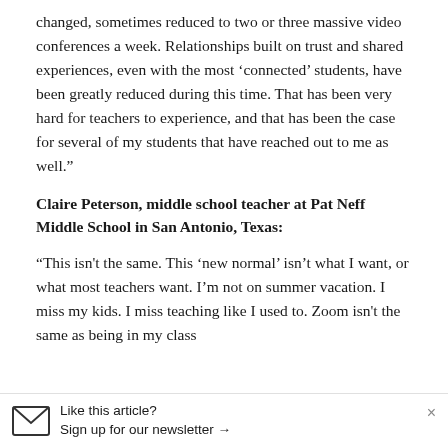changed, sometimes reduced to two or three massive video conferences a week. Relationships built on trust and shared experiences, even with the most ‘connected’ students, have been greatly reduced during this time. That has been very hard for teachers to experience, and that has been the case for several of my students that have reached out to me as well.”
Claire Peterson, middle school teacher at Pat Neff Middle School in San Antonio, Texas:
“This isn't the same. This ‘new normal’ isn’t what I want, or what most teachers want. I’m not on summer vacation. I miss my kids. I miss teaching like I used to. Zoom isn't the same as being in my class
Like this article?
Sign up for our newsletter →